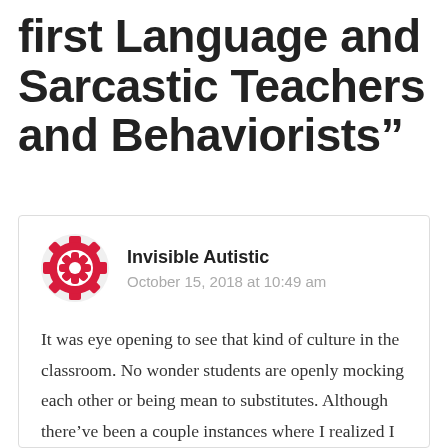first Language and Sarcastic Teachers and Behaviorists”
[Figure (logo): Red decorative circular avatar icon for user Invisible Autistic]
Invisible Autistic
October 15, 2018 at 10:49 am
It was eye opening to see that kind of culture in the classroom. No wonder students are openly mocking each other or being mean to substitutes. Although there’ve been a couple instances where I realized I was getting caught up in this dynamic between teacher and student, I do my best not to be sarcastic